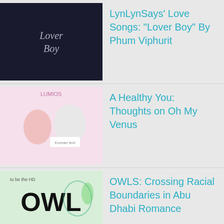LynLynSays' Love Songs: "Lover Boy" By Phum Viphurit
A Healthy You: Thoughts on Oh My Venus
OWLS: Crossing Racial Boundaries in Abu Dhabi Romance
Snippets of Love: Thoughts on Ao-chan Can't Study, Senryu Girl, and My Sweet Tyrant
Advertisements
[Figure (screenshot): WooCommerce advertisement banner: How to start selling subscriptions online]